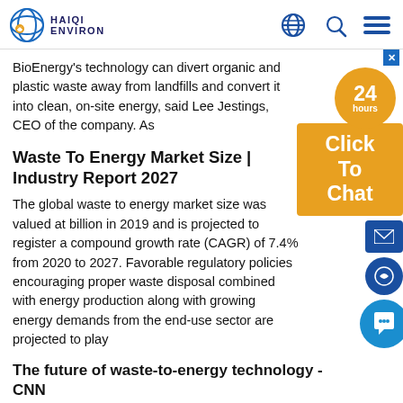HAIQI ENVIRON
BioEnergy's technology can divert organic and plastic waste away from landfills and convert it into clean, on-site energy, said Lee Jestings, CEO of the company. As
[Figure (infographic): 24 hours chat widget with Click To Chat button and messenger/WhatsApp/chat icons overlay]
Waste To Energy Market Size | Industry Report 2027
The global waste to energy market size was valued at billion in 2019 and is projected to register a compound growth rate (CAGR) of 7.4% from 2020 to 2027. Favorable regulatory policies encouraging proper waste disposal combined with energy production along with growing energy demands from the end-use sector are projected to play
The future of waste-to-energy technology - CNN
Feb 08, 2020 · Transforming our trash into energy. Tech. We produce over 2 billion tons of waste per year, a number that's expected to grow by 70% by 2050. We've long sought ways to turn all this waste into
Waste to energy conversion for a sustainable future